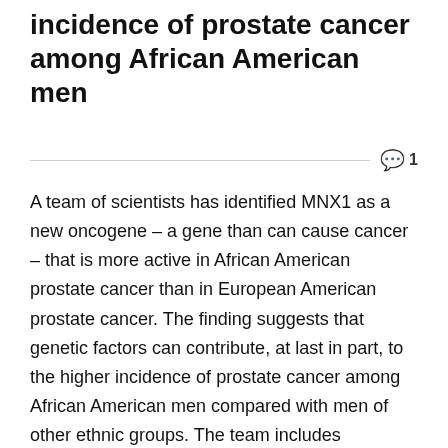incidence of prostate cancer among African American men
A team of scientists has identified MNX1 as a new oncogene – a gene than can cause cancer – that is more active in African American prostate cancer than in European American prostate cancer. The finding suggests that genetic factors can contribute, at last in part, to the higher incidence of prostate cancer among African American men compared with men of other ethnic groups. The team includes scientists at Baylor College of Medicine, Third Military Medical University in China, the Michael E. DeBakey VA Medical Center, and Agilent